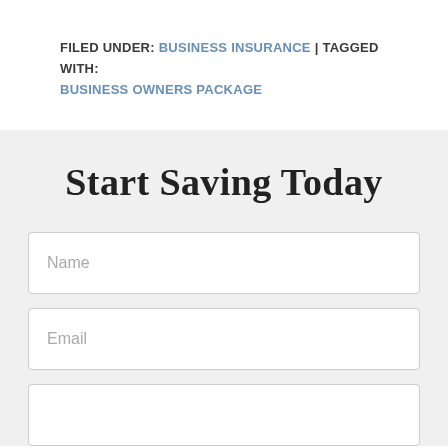FILED UNDER: BUSINESS INSURANCE | TAGGED WITH: BUSINESS OWNERS PACKAGE
Start Saving Today
Name
Email